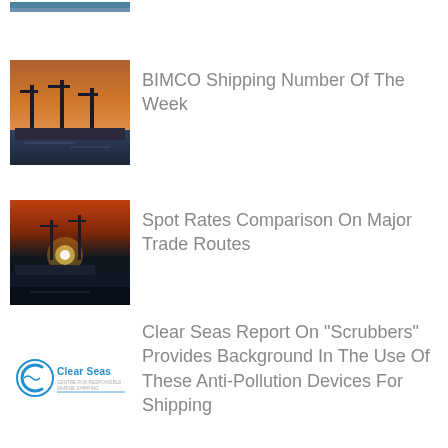[Figure (photo): Partial thumbnail of a shipping/port scene at the top of the page, cropped]
BIMCO Shipping Number Of The Week
[Figure (photo): Thumbnail of a port with cranes at dusk/twilight, containers visible]
Spot Rates Comparison On Major Trade Routes
[Figure (photo): Thumbnail of a container ship at night with bright lights]
[Figure (logo): Clear Seas organization logo]
Clear Seas Report On “Scrubbers” Provides Background In The Use Of These Anti-Pollution Devices For Shipping